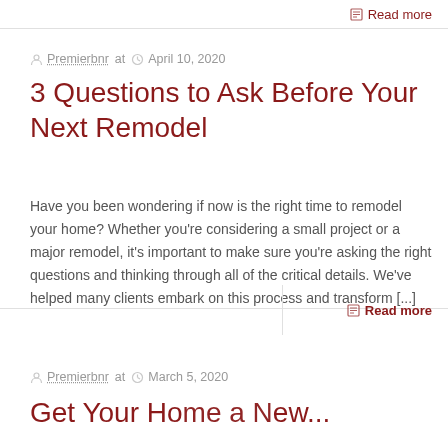Read more
Premierbnr at  April 10, 2020
3 Questions to Ask Before Your Next Remodel
Have you been wondering if now is the right time to remodel your home? Whether you're considering a small project or a major remodel, it's important to make sure you're asking the right questions and thinking through all of the critical details. We've helped many clients embark on this process and transform [...]
Read more
Premierbnr at  March 5, 2020
Get Your Home a New...